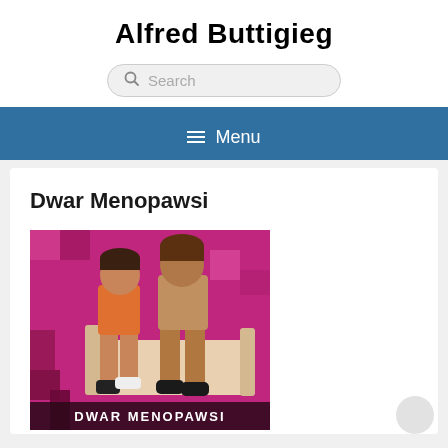Alfred Buttigieg
[Figure (screenshot): Search bar with magnifying glass icon and placeholder text 'Search']
Menu
Dwar Menopawsi
[Figure (photo): Book cover image for 'Dwar Menopawsi' showing two figures sitting, with colorful pink/purple background and the title text at the bottom]